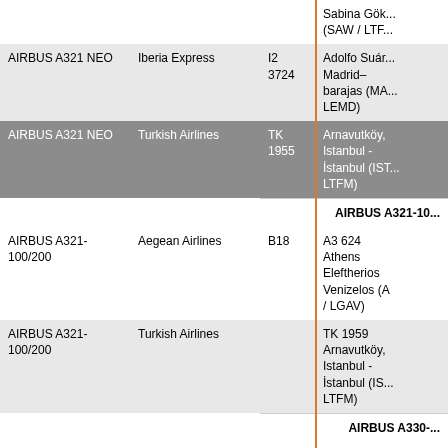| Aircraft | Airline | Gate | Flight/Destination |
| --- | --- | --- | --- |
|  |  |  | Sabina Gök... (SAW / LTF...) |
| AIRBUS A321 NEO | Iberia Express | I2 3724 | Adolfo Suár... Madrid–barajas (MA... LEMD) |
| AIRBUS A321 NEO | Turkish Airlines | TK 1955 | Arnavutköy, Istanbul - İstanbul (IST... LTFM) |
| AIRBUS A321-100/200 | Aegean Airlines | B18 | A3 624 Athens Eleftherios Venizelos (A / LGAV) |
| AIRBUS A321-100/200 | Turkish Airlines |  | TK 1959 Arnavutköy, Istanbul - İstanbul (IS... LTFM) |
| AIRBUS A330-200 | KLM | C6 | KL 676 Edmonton (YEG / CYE...) |
| AIRBUS A330-200 | Turkish Airlines | D71 | TK 1957 Arnavutköy, Istanbul - |